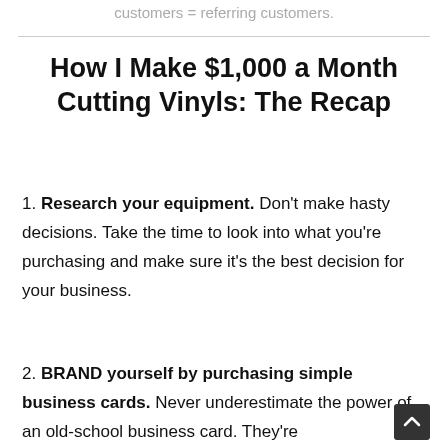customers = referring customers.
How I Make $1,000 a Month Cutting Vinyls: The Recap
1. Research your equipment. Don't make hasty decisions. Take the time to look into what you're purchasing and make sure it's the best decision for your business.
2. BRAND yourself by purchasing simple business cards. Never underestimate the power of an old-school business card. They're